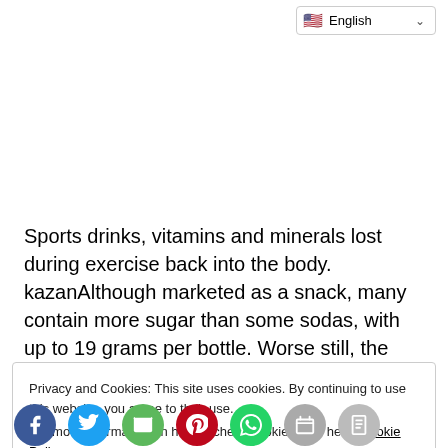[Figure (screenshot): Language selector dropdown showing English with US flag in top-right corner]
Sports drinks, vitamins and minerals lost during exercise back into the body. kazanAlthough marketed as a snack, many contain more sugar than some sodas, with up to 19 grams per bottle. Worse still, the amount of sodium they contain is
Privacy and Cookies: This site uses cookies. By continuing to use this website, you agree to their use. For more information on how to check cookies, see here: Cookie Policy
[Figure (screenshot): Social sharing icons row: Facebook, Twitter, Email, Pinterest, WhatsApp, Print, Share]